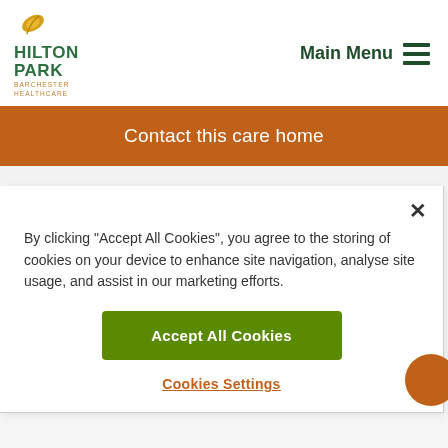[Figure (logo): Hilton Park Barchester Healthcare logo with green text and orange leaf icon]
Main Menu
Contact this care home
By clicking “Accept All Cookies”, you agree to the storing of cookies on your device to enhance site navigation, analyse site usage, and assist in our marketing efforts.
Accept All Cookies
Cookies Settings